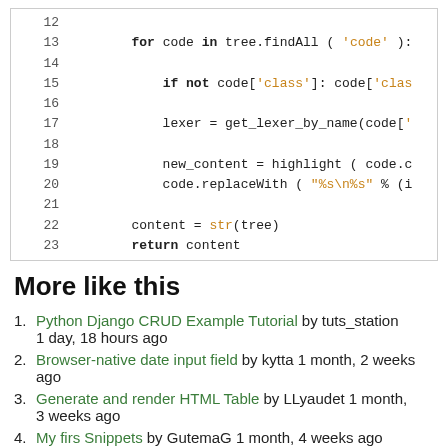[Figure (screenshot): Python code snippet showing lines 12-23 with syntax highlighting. Keywords (for, if not, return) in bold, string literals in orange/brown.]
More like this
Python Django CRUD Example Tutorial by tuts_station 1 day, 18 hours ago
Browser-native date input field by kytta 1 month, 2 weeks ago
Generate and render HTML Table by LLyaudet 1 month, 3 weeks ago
My firs Snippets by GutemaG 1 month, 4 weeks ago